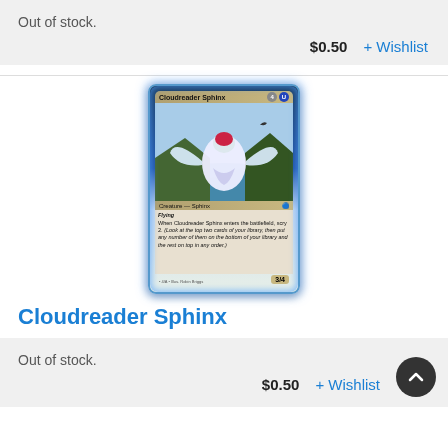Out of stock.
$0.50   + Wishlist
[Figure (illustration): Magic: The Gathering card — Cloudreader Sphinx. Blue-bordered card with art showing a white sphinx creature flying over water with mountains. Card type: Creature — Sphinx. Abilities: Flying, Scry 2 when enters battlefield. Power/Toughness: 3/4.]
Cloudreader Sphinx
Out of stock.
$0.50   + Wishlist